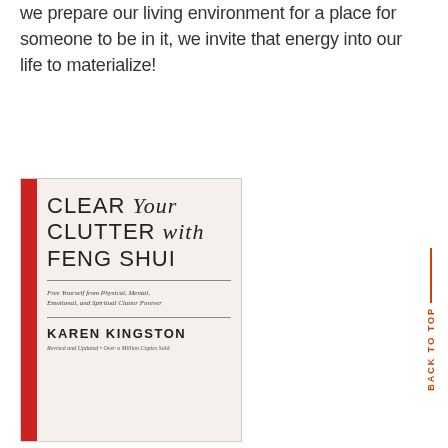we prepare our living environment for a place for someone to be in it, we invite that energy into our life to materialize!
[Figure (illustration): Book cover of 'Clear Your Clutter with Feng Shui' by Karen Kingston. Cream/off-white background with a red spine stripe on the left. Title in large light sans-serif font mixed with italic serif font. Subtitle: 'Free Yourself from Physical, Mental, Emotional, and Spiritual Clutter Forever'. Author name: KAREN KINGSTON in bold caps. Bottom note: 'Revised and Updated • Over a Million Copies Sold'.]
BACK TO TOP